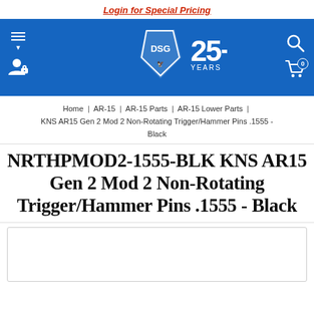Login for Special Pricing
[Figure (logo): DSG Arms 25+ years logo on blue header bar with hamburger menu, user icon, search icon, and cart icon]
Home | AR-15 | AR-15 Parts | AR-15 Lower Parts | KNS AR15 Gen 2 Mod 2 Non-Rotating Trigger/Hammer Pins .1555 - Black
NRTHPMOD2-1555-BLK KNS AR15 Gen 2 Mod 2 Non-Rotating Trigger/Hammer Pins .1555 - Black
[Figure (photo): Product image placeholder area (white box with border)]